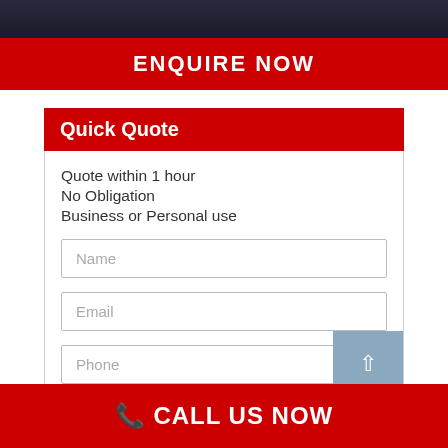[Figure (photo): Dark background photo bar at top of page]
ENQUIRE NOW
Quick Quote
Quote within 1 hour
No Obligation
Business or Personal use
Name
Email
Phone
CALL US NOW